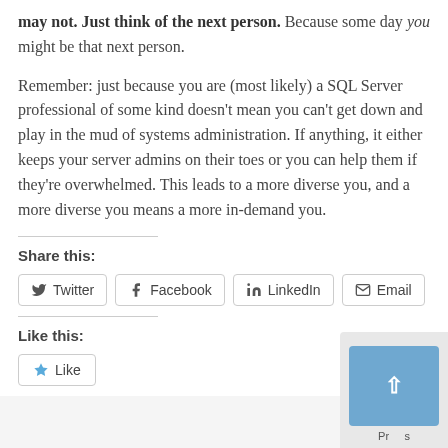may not. Just think of the next person. Because some day you might be that next person.
Remember: just because you are (most likely) a SQL Server professional of some kind doesn't mean you can't get down and play in the mud of systems administration. If anything, it either keeps your server admins on their toes or you can help them if they're overwhelmed. This leads to a more diverse you, and a more diverse you means a more in-demand you.
Share this:
Twitter
Facebook
LinkedIn
Email
Like this:
Like